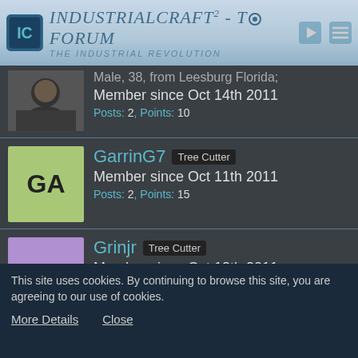IndustrialCraft² - The Forum · The Industrial Revolution
Male, 38, from Leesburg Florida; Member since Oct 14th 2011
Posts: 2, Points: 10
GarrinG7  Tree Cutter
Member since Oct 11th 2011
Posts: 2, Points: 15
Grinjr  Tree Cutter
Member since Oct 13th 2011
Posts: 2, Points: 10
Gnarhoff  Tree Cutter
Member since Oct 8th 2011
This site uses cookies. By continuing to browse this site, you are agreeing to our use of cookies.
More Details   Close